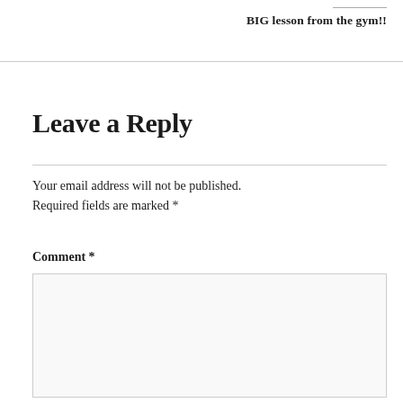BIG lesson from the gym!!
Leave a Reply
Your email address will not be published. Required fields are marked *
Comment *